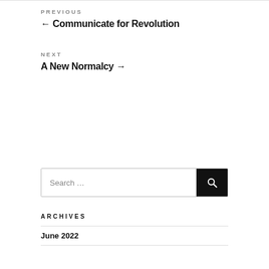PREVIOUS
← Communicate for Revolution
NEXT
A New Normalcy →
Search …
ARCHIVES
June 2022